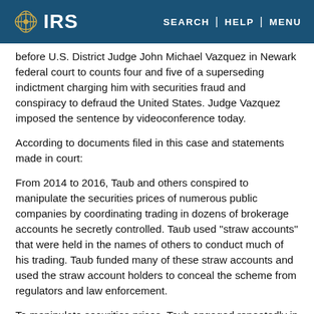IRS | SEARCH | HELP | MENU
before U.S. District Judge John Michael Vazquez in Newark federal court to counts four and five of a superseding indictment charging him with securities fraud and conspiracy to defraud the United States. Judge Vazquez imposed the sentence by videoconference today.
According to documents filed in this case and statements made in court:
From 2014 to 2016, Taub and others conspired to manipulate the securities prices of numerous public companies by coordinating trading in dozens of brokerage accounts he secretly controlled. Taub used "straw accounts" that were held in the names of others to conduct much of his trading. Taub funded many of these straw accounts and used the straw account holders to conceal the scheme from regulators and law enforcement.
To manipulate securities prices, Taub engaged repeatedly in a series of contemporaneous transactions designed to artificially influence the market price of the securities of various publicly traded companies and to harm other market participants.